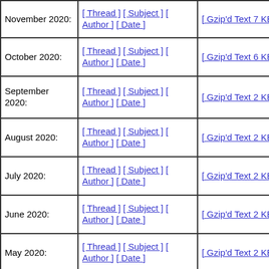| Month | Sort Options | Archive |
| --- | --- | --- |
| November 2020: | [ Thread ] [ Subject ] [ Author ] [ Date ] | [ Gzip'd Text 7 KB ] |
| October 2020: | [ Thread ] [ Subject ] [ Author ] [ Date ] | [ Gzip'd Text 6 KB ] |
| September 2020: | [ Thread ] [ Subject ] [ Author ] [ Date ] | [ Gzip'd Text 2 KB ] |
| August 2020: | [ Thread ] [ Subject ] [ Author ] [ Date ] | [ Gzip'd Text 2 KB ] |
| July 2020: | [ Thread ] [ Subject ] [ Author ] [ Date ] | [ Gzip'd Text 2 KB ] |
| June 2020: | [ Thread ] [ Subject ] [ Author ] [ Date ] | [ Gzip'd Text 2 KB ] |
| May 2020: | [ Thread ] [ Subject ] [ Author ] [ Date ] | [ Gzip'd Text 2 KB ] |
| April 2020: | [ Thread ] [ Subject ] [ Author ] [ Date ] | [ Gzip'd Text 857 bytes ] |
| February 2020: | [ Thread ] [ Subject ] [ Author ] [ Date ] | [ Gzip'd Text 1 KB ] |
| November 2019: | [ Thread ] [ Subject ] [ Author ] [ Date ] | [ Gzip'd Text 12 KB ] |
| October 2019: | [ Thread ] [ Subject ] [ Author ] [ Date ] | [ Gzip'd Text 1 KB ] |